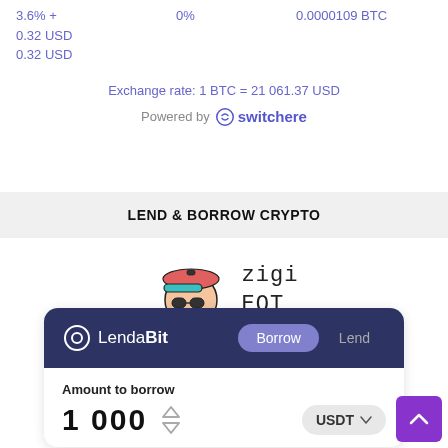3.6% +
0.32 USD
0.32 USD
0%
0.0000109 BTC
Exchange rate: 1 BTC = 21 061.37 USD
Powered by switchere
LEND & BORROW CRYPTO
[Figure (illustration): Cartoon character wearing a pink baseball cap and sunglasses with text 'zigi EQT' in monospace font]
[Figure (screenshot): LendaBit widget showing Borrow/Lend tabs with 'Amount to borrow' field showing 1 000 USDT]